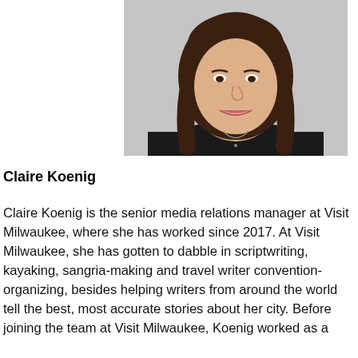[Figure (photo): Professional headshot of Claire Koenig, a woman with long brown hair, smiling, wearing a black top and necklace, against a light gray background.]
Claire Koenig
Claire Koenig is the senior media relations manager at Visit Milwaukee, where she has worked since 2017. At Visit Milwaukee, she has gotten to dabble in scriptwriting, kayaking, sangria-making and travel writer convention-organizing, besides helping writers from around the world tell the best, most accurate stories about her city. Before joining the team at Visit Milwaukee, Koenig worked as a